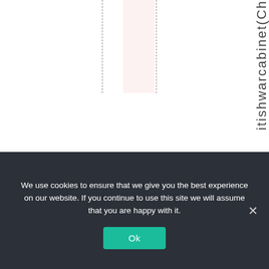[Figure (other): Document page layout with dashed vertical guide lines and a pink highlighted column, showing rotated text reading 'itishwarcabinet(Ch' along the right side.]
We use cookies to ensure that we give you the best experience on our website. If you continue to use this site we will assume that you are happy with it.